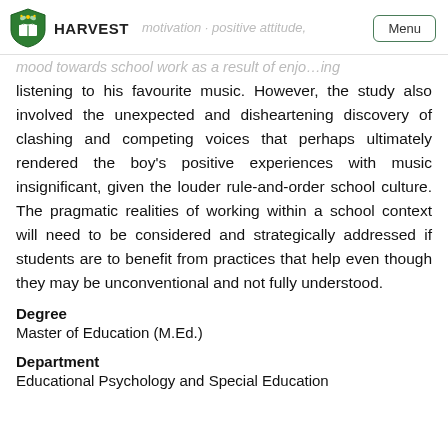HARVEST | Menu
listening to his favourite music. However, the study also involved the unexpected and disheartening discovery of clashing and competing voices that perhaps ultimately rendered the boy's positive experiences with music insignificant, given the louder rule-and-order school culture. The pragmatic realities of working within a school context will need to be considered and strategically addressed if students are to benefit from practices that help even though they may be unconventional and not fully understood.
Degree
Master of Education (M.Ed.)
Department
Educational Psychology and Special Education